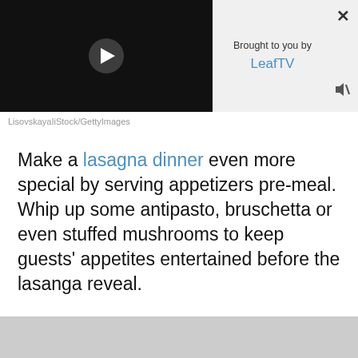[Figure (screenshot): Video player thumbnail showing a dark/black background with a circular play button in the center, overlaid with an ad panel on the right showing 'Brought to you by LeafTV' with a close (X) button and mute button]
LisovskayaIiStock/GettyImages
Make a lasagna dinner even more special by serving appetizers pre-meal. Whip up some antipasto, bruschetta or even stuffed mushrooms to keep guests' appetites entertained before the lasanga reveal.